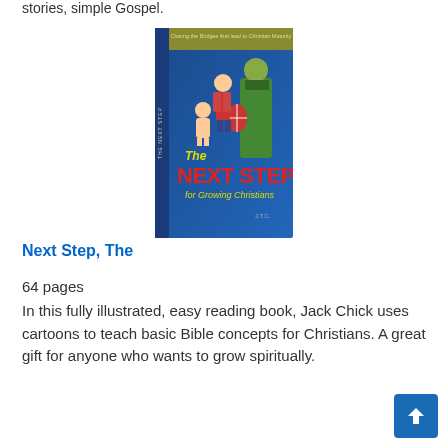stories, simple Gospel.
[Figure (illustration): Book cover of 'The Next Step for Growing Christians' by Jack Chick. Blue background with characters including a baby, a boy, and an armored knight. Red bold text reads 'The NEXT STEP for Growing Christians'. Yellow banner at top with subtitle text.]
Next Step, The
64 pages
In this fully illustrated, easy reading book, Jack Chick uses cartoons to teach basic Bible concepts for Christians. A great gift for anyone who wants to grow spiritually.